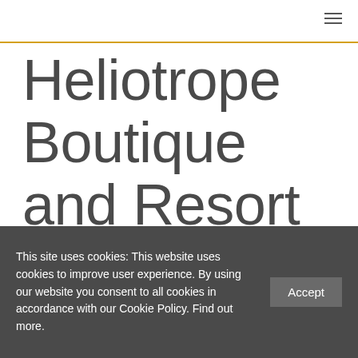Heliotrope Boutique and Resort Hotels 08
This site uses cookies: This website uses cookies to improve user experience. By using our website you consent to all cookies in accordance with our Cookie Policy. Find out more.